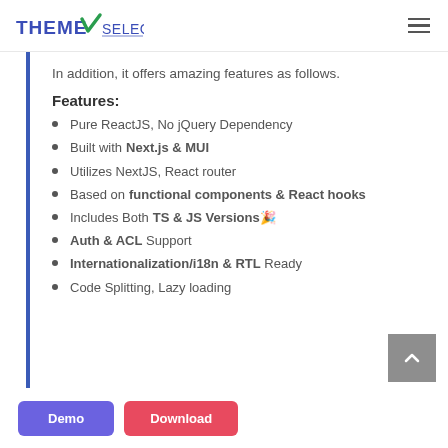THEME SELECTION
In addition, it offers amazing features as follows.
Features:
Pure ReactJS, No jQuery Dependency
Built with Next.js & MUI
Utilizes NextJS, React router
Based on functional components & React hooks
Includes Both TS & JS Versions 🎉
Auth & ACL Support
Internationalization/i18n & RTL Ready
Code Splitting, Lazy loading